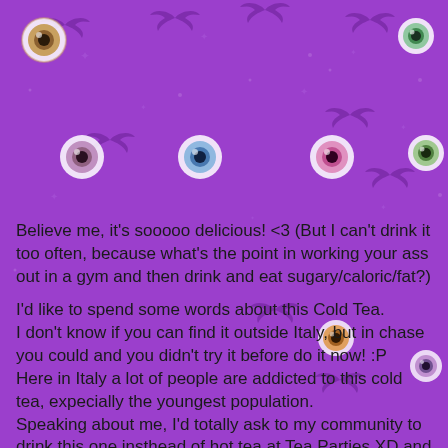[Figure (illustration): Purple Halloween-themed background with silhouettes of bats, eyeballs with colorful irises, and sparkle/star decorations on a medium purple background.]
Believe me, it's sooooo delicious! <3 (But I can't drink it too often, because what's the point in working your ass out in a gym and then drink and eat sugary/caloric/fat?)

I'd like to spend some words about this Cold Tea.
I don't know if you can find it outside Italy, but in chase you could and you didn't try it before do it now! :P
Here in Italy a lot of people are addicted to this cold tea, expecially the youngest population.
Speaking about me, I'd totally ask to my community to drink this one insthead of hot tea at Tea Parties XD and I think a lot of girls would be very happy! Even if it's so un-rori :P and it's not very good while eating pastries, I do prefer salty food with it, because it's so damn sugary!
(Sometimes while joking with my friends we say "Estaté it's the only cold tea that doesn't contain real tea, it's just plain sugar with